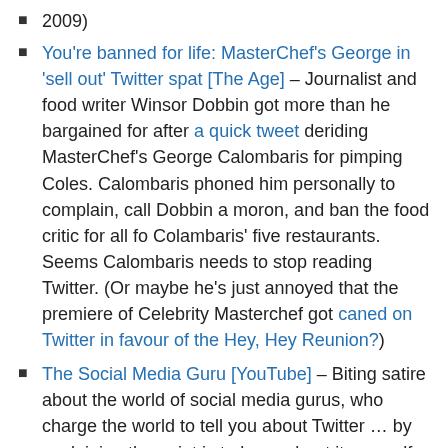2009)
You're banned for life: MasterChef's George in 'sell out' Twitter spat [The Age] – Journalist and food writer Winsor Dobbin got more than he bargained for after a quick tweet deriding MasterChef's George Calombaris for pimping Coles. Calombaris phoned him personally to complain, call Dobbin a moron, and ban the food critic for all fo Colambaris' five restaurants. Seems Calombaris needs to stop reading Twitter. (Or maybe he's just annoyed that the premiere of Celebrity Masterchef got caned on Twitter in favour of the Hey, Hey Reunion?)
The Social Media Guru [YouTube] – Biting satire about the world of social media gurus, who charge the world to tell you about Twitter … by explaining the point is to learn about it yourself. "It's social media, baby." (Oh, BTW: Some very